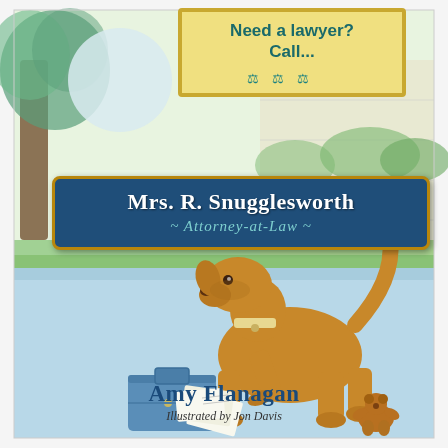[Figure (illustration): Book cover illustration showing a golden/tan dog dressed as a lawyer holding legal papers, standing next to a blue briefcase with papers spilling out and a small stuffed animal on the ground. Background shows a park/outdoor scene with trees and grass in blue-green watercolor tones.]
Need a lawyer? Call...
Mrs. R. Snugglesworth Attorney-at-Law
Amy Flanagan
Illustrated by Jon Davis